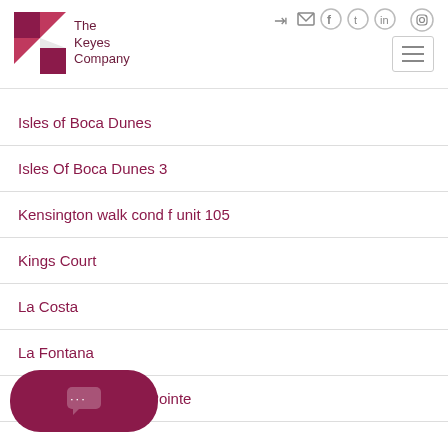[Figure (logo): The Keyes Company logo with stylized K in dark red/maroon]
Isles of Boca Dunes
Isles Of Boca Dunes 3
Kensington walk cond f unit 105
Kings Court
La Costa
La Fontana
At Boca Pointe